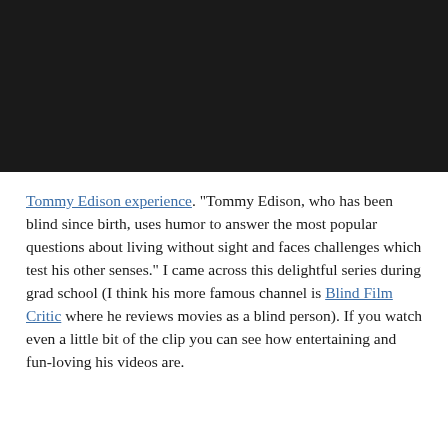[Figure (screenshot): Black video player rectangle at the top of the page]
Tommy Edison experience. "Tommy Edison, who has been blind since birth, uses humor to answer the most popular questions about living without sight and faces challenges which test his other senses." I came across this delightful series during grad school (I think his more famous channel is Blind Film Critic where he reviews movies as a blind person). If you watch even a little bit of the clip you can see how entertaining and fun-loving his videos are.